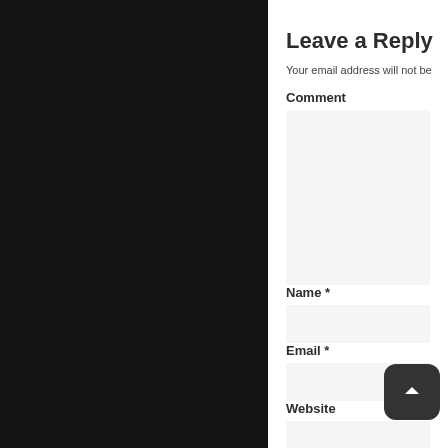Leave a Reply
Your email address will not be
Comment
Name *
Email *
Website